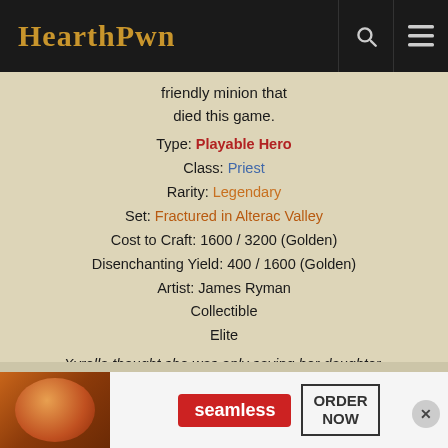HearthPwn
friendly minion that died this game.
Type: Playable Hero
Class: Priest
Rarity: Legendary
Set: Fractured in Alterac Valley
Cost to Craft: 1600 / 3200 (Golden)
Disenchanting Yield: 400 / 1600 (Golden)
Artist: James Ryman
Collectible
Elite
Xyrella thought she was only saving her daughter. Her actions may very well have saved the entire world.
[Figure (illustration): Hearthstone card art showing a glowing blue magical card with mana cost 8 gem in the upper left corner]
[Figure (other): Seamless food delivery advertisement banner with pizza image, Seamless logo, and ORDER NOW button]